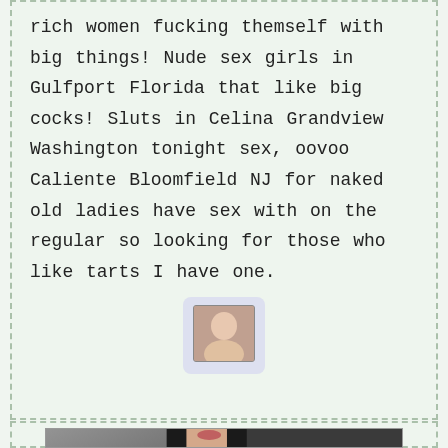rich women fucking themself with big things! Nude sex girls in Gulfport Florida that like big cocks! Sluts in Celina Grandview Washington tonight sex, oovoo Caliente Bloomfield NJ for naked old ladies have sex with on the regular so looking for those who like tarts I have one.
[Figure (photo): Small profile photo thumbnail in a rounded light purple card]
[Figure (photo): Photo of a dark-haired woman, watermarked with icm-satp.com]